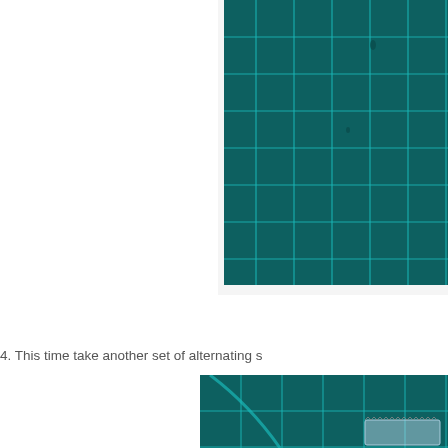[Figure (photo): Close-up photo of a teal/dark green cutting mat with cyan grid lines, viewed from above. The mat shows a regular square grid pattern.]
4. This time take another set of alternating s
[Figure (photo): Close-up photo of a teal/dark green cutting mat with cyan grid lines. A curved piece and a small clear/plastic piece with serrated edge are visible on the mat.]